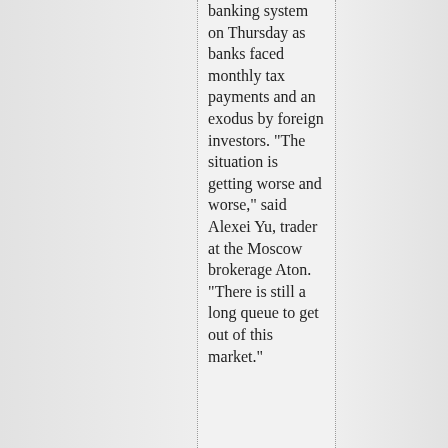banking system on Thursday as banks faced monthly tax payments and an exodus by foreign investors. "The situation is getting worse and worse," said Alexei Yu, trader at the Moscow brokerage Aton. "There is still a long queue to get out of this market."